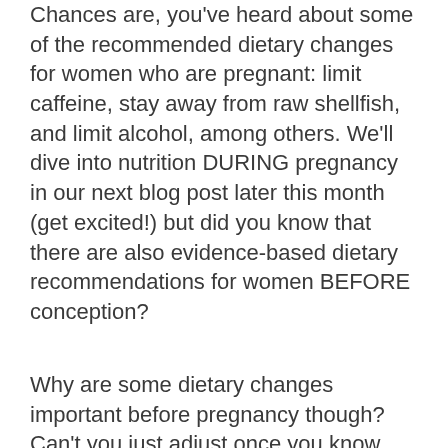Chances are, you've heard about some of the recommended dietary changes for women who are pregnant: limit caffeine, stay away from raw shellfish, and limit alcohol, among others. We'll dive into nutrition DURING pregnancy in our next blog post later this month (get excited!) but did you know that there are also evidence-based dietary recommendations for women BEFORE conception?
Why are some dietary changes important before pregnancy though? Can't you just adjust once you know you're pregnant? The reality is that some critical periods of development can take place in an embryo before a